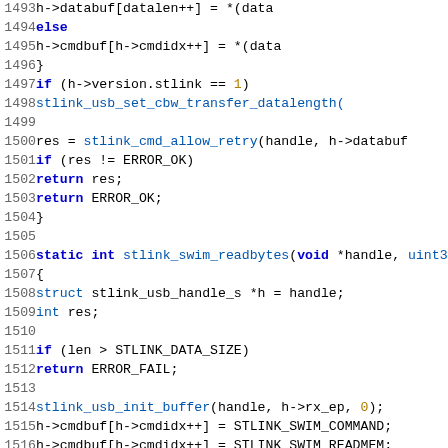[Figure (screenshot): Source code listing in C showing lines 1493-1524+, with syntax highlighting. Functions stlink_swim_readbytes and related USB/SWIM operations.]